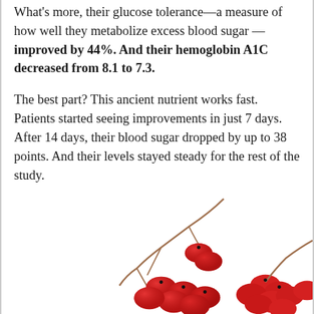What's more, their glucose tolerance—a measure of how well they metabolize excess blood sugar — improved by 44%. And their hemoglobin A1C decreased from 8.1 to 7.3.
The best part? This ancient nutrient works fast. Patients started seeing improvements in just 7 days. After 14 days, their blood sugar dropped by up to 38 points. And their levels stayed steady for the rest of the study.
But until recently, no one knew why berberine is so effective at supporting healthy blood sugar. Then a team of researchers made an amazing discovery. You see, berberine...
[Figure (photo): Red berries (barberries) on a branch, partially visible at the bottom of the page on a white background]